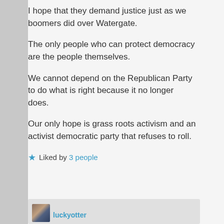I hope that they demand justice just as we boomers did over Watergate.
The only people who can protect democracy are the people themselves.
We cannot depend on the Republican Party to do what is right because it no longer does.
Our only hope is grass roots activism and an activist democratic party that refuses to roll.
★ Liked by 3 people
luckyotter